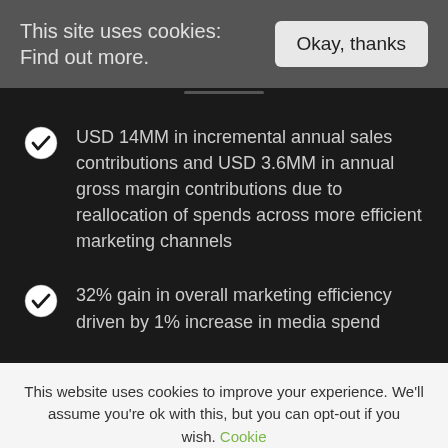This site uses cookies: Find out more.
Okay, thanks
USD 14MM in incremental annual sales contributions and USD 3.6MM in annual gross margin contributions due to reallocation of spends across more efficient marketing channels
32% gain in overall marketing efficiency driven by 1% increase in media spend
This website uses cookies to improve your experience. We'll assume you're ok with this, but you can opt-out if you wish. Cookie settings ACCEPT REJECT